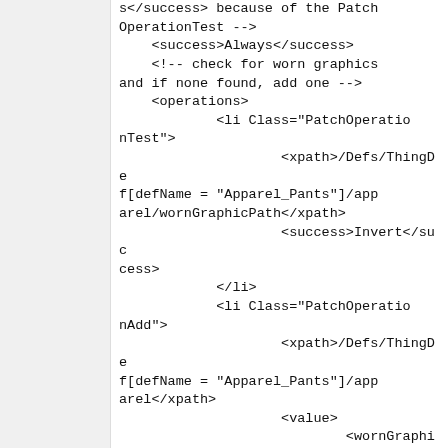s</success> because of the PatchOperationTest -->
    <success>Always</success>
    <!-- check for worn graphics and if none found, add one -->
    <operations>
            <li Class="PatchOperationTest">
                    <xpath>/Defs/ThingDef[defName = "Apparel_Pants"]/apparel/wornGraphicPath</xpath>
                    <success>Invert</success>
            </li>
            <li Class="PatchOperationAdd">
                    <xpath>/Defs/ThingDef[defName = "Apparel_Pants"]/apparel</xpath>
                    <value>
                            <wornGraphicPath>Accessorello/Pants/Pants</wornGraphicPath>
                    </value>
            </li>
    </operations>
    </Ope...